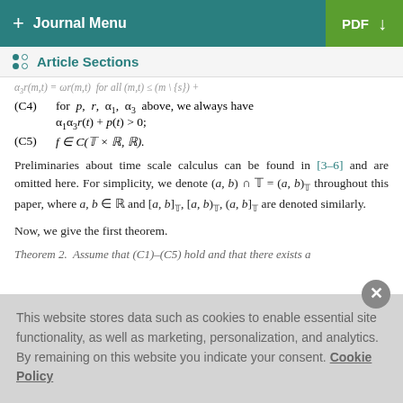+ Journal Menu | PDF ↓
Article Sections
(C4) for p, r, α₁, α₃ above, we always have α₁α₃r(t) + p(t) > 0;
(C5) f ∈ C(𝕋 × ℝ, ℝ).
Preliminaries about time scale calculus can be found in [3–6] and are omitted here. For simplicity, we denote (a, b) ∩ 𝕋 = (a, b)_𝕋 throughout this paper, where a, b ∈ ℝ and [a, b]_𝕋, [a, b)_𝕋, (a, b]_𝕋 are denoted similarly.
Now, we give the first theorem.
Theorem 2. Assume that (C1)–(C5) hold and that there exists a
This website stores data such as cookies to enable essential site functionality, as well as marketing, personalization, and analytics. By remaining on this website you indicate your consent. Cookie Policy